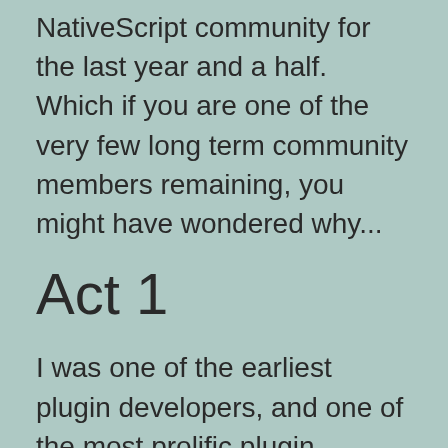NativeScript community for the last year and a half. Which if you are one of the very few long term community members remaining, you might have wondered why...
Act 1
I was one of the earliest plugin developers, and one of the most prolific plugin developers over my tenure for NativeScript and many techniques I pioneered are used in many plugins.
I created many resources for NativeScript including writing books, spoke at conferences